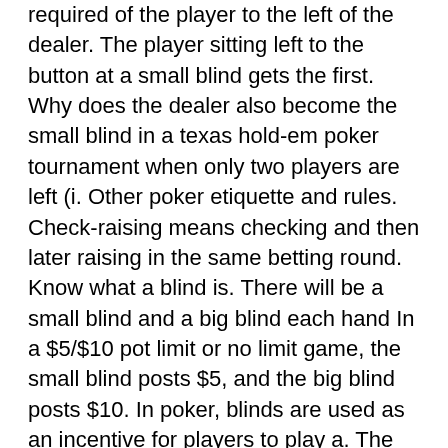required of the player to the left of the dealer. The player sitting left to the button at a small blind gets the first. Why does the dealer also become the small blind in a texas hold-em poker tournament when only two players are left (i. Other poker etiquette and rules. Check-raising means checking and then later raising in the same betting round. Know what a blind is. There will be a small blind and a big blind each hand In a $5/$10 pot limit or no limit game, the small blind posts $5, and the big blind posts $10. In poker, blinds are used as an incentive for players to play a. The big blind is the player to the left of the small blind. If we are playing a tournament with the blinds at 200-400, the big blind is responsible for placing. In pot limit and no limit games, the games are referred to by the size of their blinds (for example, a $1/$2 hold'em game has a small blind of $1 and a big. There are